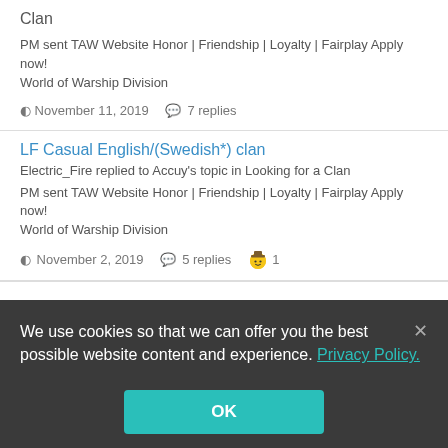Clan
PM sent TAW Website Honor | Friendship | Loyalty | Fairplay Apply now! World of Warship Division
November 11, 2019   7 replies
LF Casual English/(Swedish*) clan
Electric_Fire replied to Accuy's topic in Looking for a Clan
PM sent TAW Website Honor | Friendship | Loyalty | Fairplay Apply now! World of Warship Division
November 2, 2019   5 replies   1
We use cookies so that we can offer you the best possible website content and experience. Privacy Policy.
OK